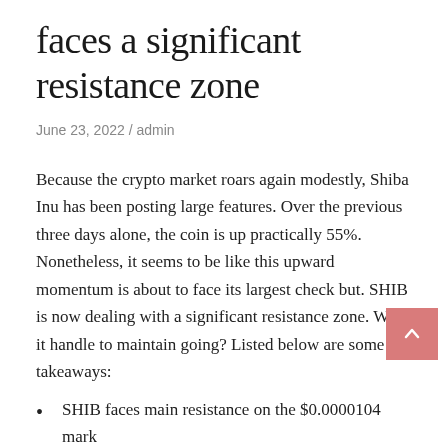faces a significant resistance zone
June 23, 2022 / admin
Because the crypto market roars again modestly, Shiba Inu has been posting large features. Over the previous three days alone, the coin is up practically 55%. Nonetheless, it seems to be like this upward momentum is about to face its largest check but. SHIB is now dealing with a significant resistance zone. Will it handle to maintain going? Listed below are some takeaways:
SHIB faces main resistance on the $0.0000104 mark
A rejection at this worth might set off a decisive pullback